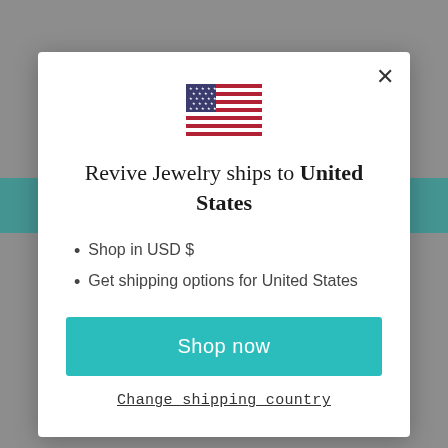[Figure (screenshot): Background of a website (Revive Jewelry) with gray overlay, showing navigation bar with logo, teal banner, and product category icons on sides.]
[Figure (illustration): US flag emoji/icon displayed in the center of a modal dialog]
Revive Jewelry ships to United States
Shop in USD $
Get shipping options for United States
Shop now
Change shipping country